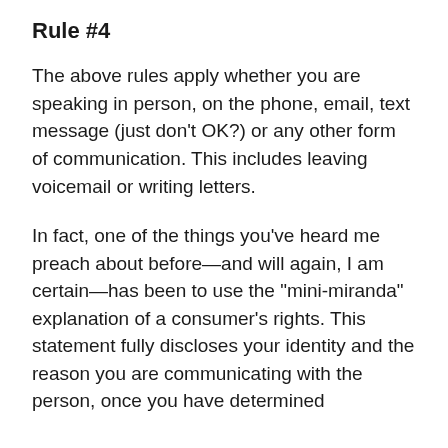Rule #4
The above rules apply whether you are speaking in person, on the phone, email, text message (just don’t OK?) or any other form of communication. This includes leaving voicemail or writing letters.
In fact, one of the things you’ve heard me preach about before—and will again, I am certain—has been to use the “mini-miranda” explanation of a consumer’s rights. This statement fully discloses your identity and the reason you are communicating with the person, once you have determined